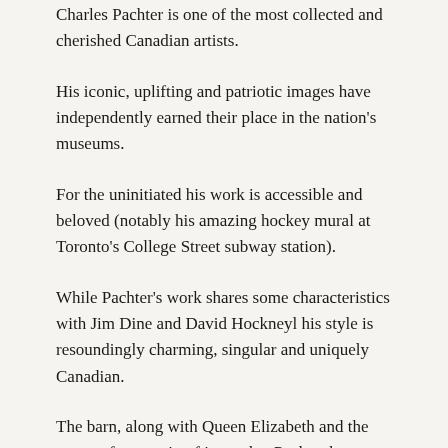Charles Pachter is one of the most collected and cherished Canadian artists.
His iconic, uplifting and patriotic images have independently earned their place in the nation's museums.
For the uninitiated his work is accessible and beloved (notably his amazing hockey mural at Toronto's College Street subway station).
While Pachter's work shares some characteristics with Jim Dine and David Hockneyl his style is resoundingly charming, singular and uniquely Canadian.
The barn, along with Queen Elizabeth and the moose, form a trio of icons that Pachter has repeatedly visited over the course of his career. Pachter's graphics are an ideal choice for starting a collection of Canadian art. This work is